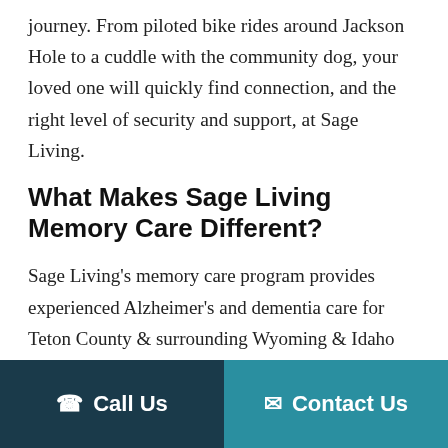journey. From piloted bike rides around Jackson Hole to a cuddle with the community dog, your loved one will quickly find connection, and the right level of security and support, at Sage Living.
What Makes Sage Living Memory Care Different?
Sage Living’s memory care program provides experienced Alzheimer’s and dementia care for Teton County & surrounding Wyoming & Idaho communities
Call Us
Contact Us